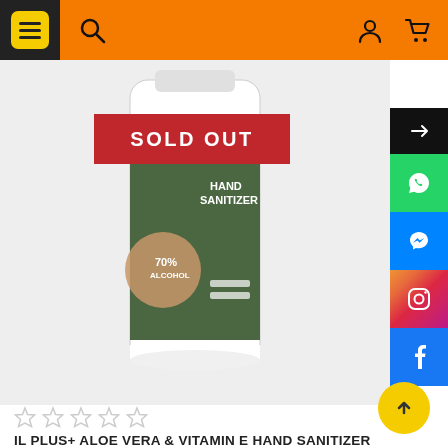[Figure (screenshot): E-commerce product page showing a hand sanitizer with orange navigation bar, sold out badge, product image, social media sidebar, product title, pricing and action buttons]
IL PLUS+ ALOE VERA & VITAMIN E HAND SANITIZER 70% ALCOHOL (GEL TYPE) 600 ML
RM59.00 RM69.00